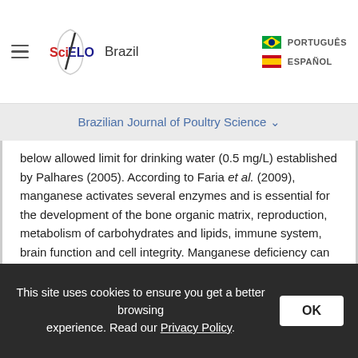SciELO Brazil | PORTUGUÊS | ESPAÑOL
Brazilian Journal of Poultry Science
below allowed limit for drinking water (0.5 mg/L) established by Palhares (2005). According to Faria et al. (2009), manganese activates several enzymes and is essential for the development of the bone organic matrix, reproduction, metabolism of carbohydrates and lipids, immune system, brain function and cell integrity. Manganese deficiency can cause nervous symptoms in young birds, perosis and chondrodystrophy.

The water supply of Faculdade de Ciências Agrárias e Veterinárias, UNESP, Jaboticabal,
This site uses cookies to ensure you get a better browsing experience. Read our Privacy Policy.